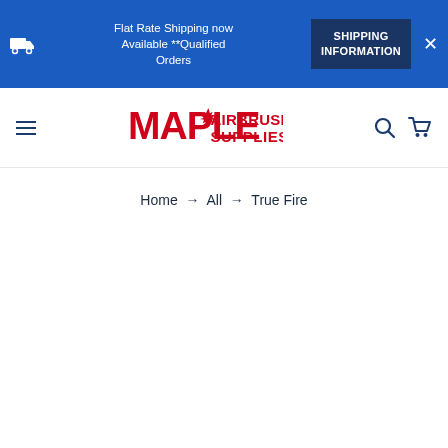Flat Rate Shipping now Available **Qualified Orders | SHIPPING INFORMATION
[Figure (logo): Maple Airbrush Supplies logo — red MAPLE text with maple leaf, red AIRBRUSH SUPPLIES text]
Home → All → True Fire